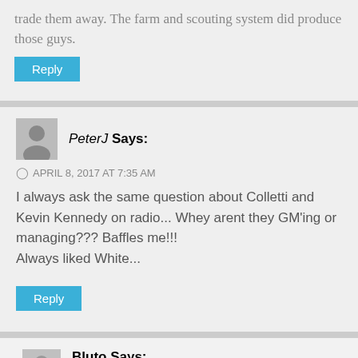trade them away. The farm and scouting system did produce those guys.
Reply
PeterJ Says:
APRIL 8, 2017 AT 7:35 AM
I always ask the same question about Colletti and Kevin Kennedy on radio... Whey arent they GM'ing or managing??? Baffles me!!! Always liked White...
Reply
Bluto Says: